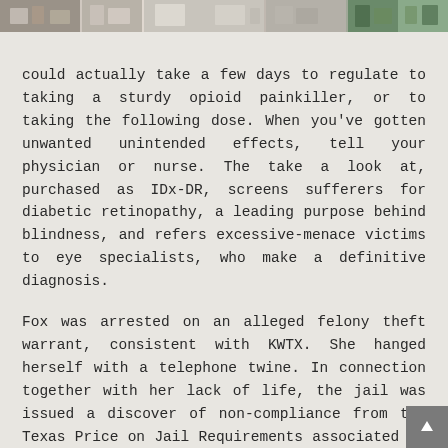[Figure (photo): Partial image strip at top of page showing various items, possibly medical products or store shelves, cropped.]
could actually take a few days to regulate to taking a sturdy opioid painkiller, or to taking the following dose. When you've gotten unwanted unintended effects, tell your physician or nurse. The take a look at, purchased as IDx-DR, screens sufferers for diabetic retinopathy, a leading purpose behind blindness, and refers excessive-menace victims to eye specialists, who make a definitive diagnosis.
Fox was arrested on an alleged felony theft warrant, consistent with KWTX. She hanged herself with a telephone twine. In connection together with her lack of life, the jail was issued a discover of non-compliance from the Texas Price on Jail Requirements associated to observations, teaching and room use.
A respirator assists the patient in respiratory and treats illnesses whereas delivering oxygen. People with bronchial bronchial asthma, persistent obstructive lung disease, bronchitis and completely different respiratory illnesses revenue from the respirator. It offers pure oxygen to the person's coronary heart and lungs. It's a small suitcase the